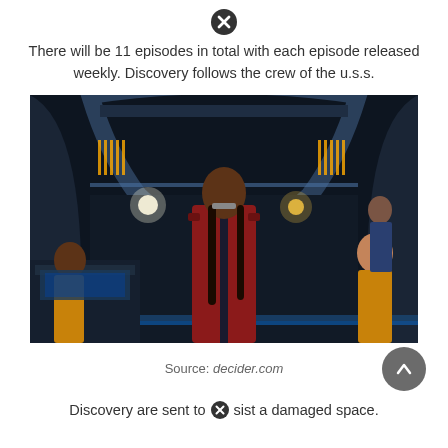[Figure (other): Close/dismiss icon - circle with X]
There will be 11 episodes in total with each episode released weekly. Discovery follows the crew of the u.s.s.
[Figure (photo): Star Trek Discovery scene: a woman in a red Starfleet uniform stands in the center of a starship bridge. Other crew members are visible in the background, wearing gold uniforms. The bridge has a dark, futuristic design with blue lighting accents.]
Source: decider.com
Discovery are sent to assist a damaged space.